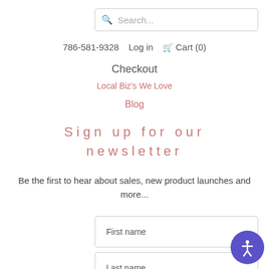Search...
786-581-9328  Log in  Cart (0)
Checkout
Local Biz's We Love
Blog
Sign up for our newsletter
Be the first to hear about sales, new product launches and more...
First name
Last name
Email address